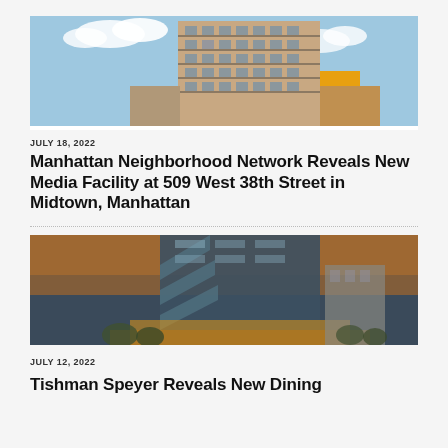[Figure (photo): Photograph of a tall modern residential/commercial building with brick and glass facade, viewed from below against a blue sky with clouds. Yellow accent visible on the right side.]
JULY 18, 2022
Manhattan Neighborhood Network Reveals New Media Facility at 509 West 38th Street in Midtown, Manhattan
[Figure (photo): Architectural rendering or photograph of a modern glass tower building with angular facade elements, illuminated at dusk or night with warm lighting at the base.]
JULY 12, 2022
Tishman Speyer Reveals New Dining